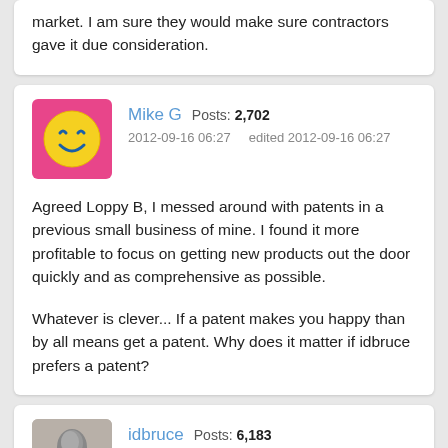market. I am sure they would make sure contractors gave it due consideration.
Mike G   Posts: 2,702
2012-09-16 06:27   edited 2012-09-16 06:27
Agreed Loppy B, I messed around with patents in a previous small business of mine. I found it more profitable to focus on getting new products out the door quickly and as comprehensive as possible.

Whatever is clever... If a patent makes you happy than by all means get a patent. Why does it matter if idbruce prefers a patent?
idbruce   Posts: 6,183
2012-09-16 06:35   edited 2012-09-16 06:35